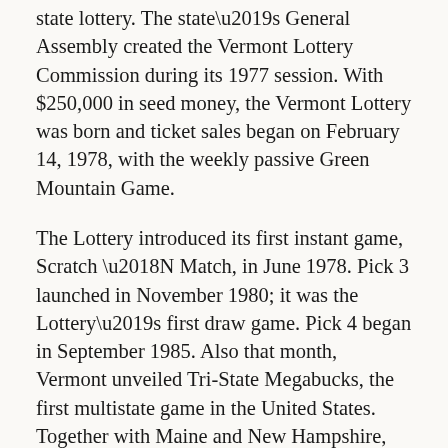state lottery. The state's General Assembly created the Vermont Lottery Commission during its 1977 session. With $250,000 in seed money, the Vermont Lottery was born and ticket sales began on February 14, 1978, with the weekly passive Green Mountain Game.
The Lottery introduced its first instant game, Scratch 'N Match, in June 1978. Pick 3 launched in November 1980; it was the Lottery's first draw game. Pick 4 began in September 1985. Also that month, Vermont unveiled Tri-State Megabucks, the first multistate game in the United States. Together with Maine and New Hampshire, there would be a number of draw games under the Tri-State banner over the ensuing years.
The Vermont Lottery was established to “produce the maximum amount of net revenue consonant with the dignity of the state and the general welfare of the people.” In support of this goal, the Lottery remains committed to contributing all proceeds to the Education Fund, while also strongly communicating the